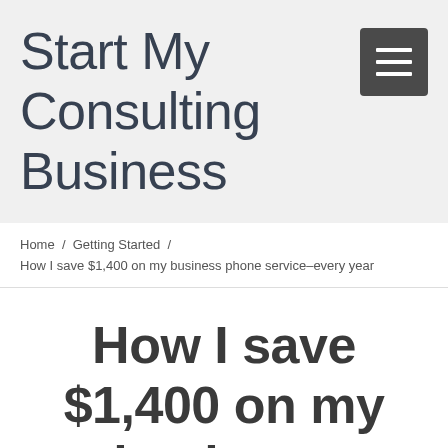Start My Consulting Business
Home / Getting Started / How I save $1,400 on my business phone service–every year
How I save $1,400 on my business phone service–every year